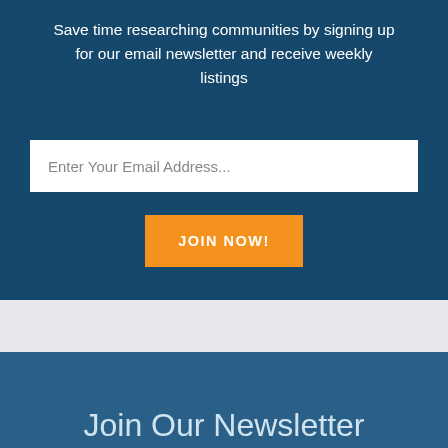Save time researching communities by signing up for our email newsletter and receive weekly listings
Enter Your Email Address...
JOIN NOW!
Join Our Newsletter